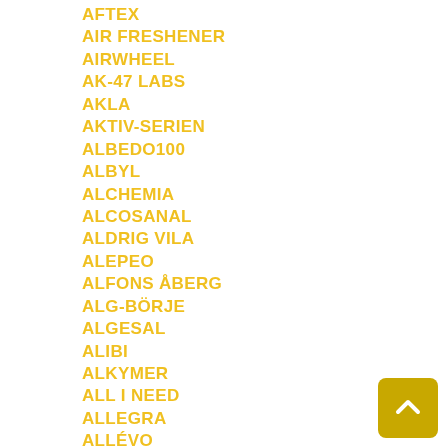AFTEX
AIR FRESHENER
AIRWHEEL
AK-47 LABS
AKLA
AKTIV-SERIEN
ALBEDO100
ALBYL
ALCHEMIA
ALCOSANAL
ALDRIG VILA
ALEPEO
ALFONS ÅBERG
ALG-BÖRJE
ALGESAL
ALIBI
ALKYMER
ALL I NEED
ALLEGRA
ALLÉVO
ALLMYN
ALOE 99
ALPHA PLUS